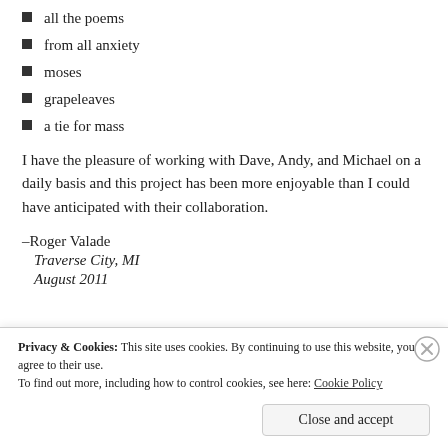all the poems
from all anxiety
moses
grapeleaves
a tie for mass
I have the pleasure of working with Dave, Andy, and Michael on a daily basis and this project has been more enjoyable than I could have anticipated with their collaboration.
–Roger Valade
Traverse City, MI
August 2011
Privacy & Cookies: This site uses cookies. By continuing to use this website, you agree to their use.
To find out more, including how to control cookies, see here: Cookie Policy
Close and accept